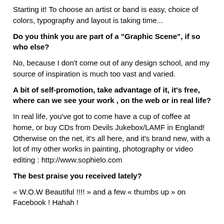Starting it! To choose an artist or band is easy, choice of colors, typography and layout is taking time...
Do you think you are part of a "Graphic Scene", if so who else?
No, because I don't come out of any design school, and my source of inspiration is much too vast and varied.
A bit of self-promotion, take advantage of it, it's free, where can we see your work , on the web or in real life?
In real life, you've got to come have a cup of coffee at home, or buy CDs from Devils Jukebox/LAMF in England! Otherwise on the net, it's all here, and it's brand new, with a lot of my other works in painting, photography or video editing : http://www.sophielo.com
The best praise you received lately?
« W.O.W Beautiful !!!! » and a few « thumbs up » on Facebook ! Hahah !